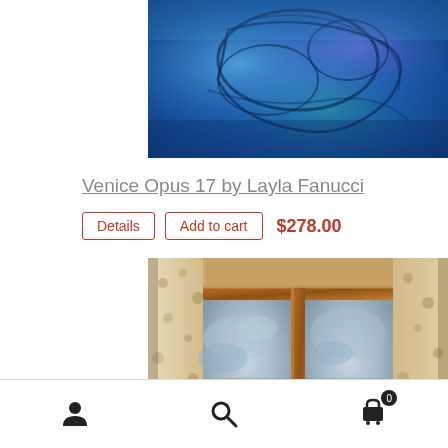[Figure (photo): Partial view of a blue abstract painting with dark outlines, cropped at the top]
Venice Opus 17 by Layla Fanucci
Details  Add to cart  $278.00
[Figure (photo): Painting of a view through a wooden window frame showing rooftops and a church steeple under a cloudy sky]
Person icon  Search icon  Cart icon with badge 0